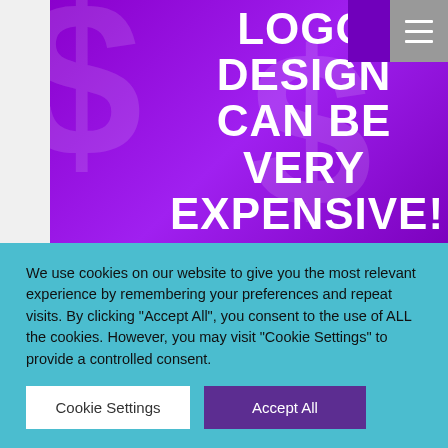[Figure (infographic): Purple banner with bold white uppercase text reading 'LOGO DESIGN CAN BE VERY EXPENSIVE! HOW CAN I KEEP THE COSTS DOWN?' with large semi-transparent dollar sign background watermark. Grey hamburger menu icon in top-right corner.]
Keeping logo designs costs down.
We use cookies on our website to give you the most relevant experience by remembering your preferences and repeat visits. By clicking "Accept All", you consent to the use of ALL the cookies. However, you may visit "Cookie Settings" to provide a controlled consent.